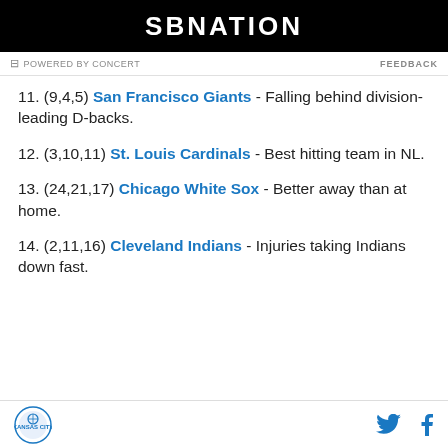[Figure (logo): SBNation logo on black background]
POWERED BY CONCERT    FEEDBACK
11. (9,4,5) San Francisco Giants - Falling behind division-leading D-backs.
12. (3,10,11) St. Louis Cardinals - Best hitting team in NL.
13. (24,21,17) Chicago White Sox - Better away than at home.
14. (2,11,16) Cleveland Indians - Injuries taking Indians down fast.
Kansas City logo, Twitter icon, Facebook icon